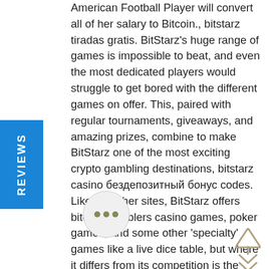American Football Player will convert all of her salary to Bitcoin., bitstarz tiradas gratis. BitStarz's huge range of games is impossible to beat, and even the most dedicated players would struggle to get bored with the different games on offer. This, paired with regular tournaments, giveaways, and amazing prizes, combine to make BitStarz one of the most exciting crypto gambling destinations, bitstarz casino бездепозитный бонус codes. Like the other sites, BitStarz offers bitcoin gamblers casino games, poker games, and some other 'specialty' games like a live dice table, but where it differs from its competition is the quantity and quality of promotions and bonuses. A section on their site explains their odds publicly and displays the code used for their games so endent testers can verify that it is азино bitstarz промокоды. Here is a list of bitcoin gambling sites with their own